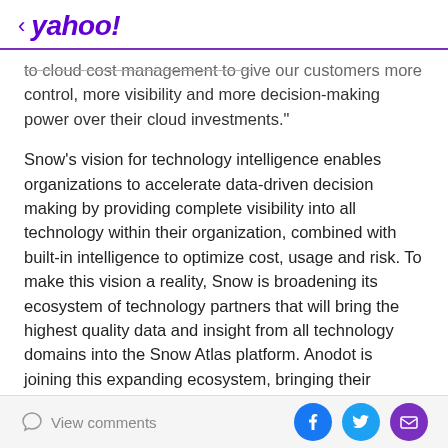< yahoo!
to cloud cost management to give our customers more control, more visibility and more decision-making power over their cloud investments."
Snow's vision for technology intelligence enables organizations to accelerate data-driven decision making by providing complete visibility into all technology within their organization, combined with built-in intelligence to optimize cost, usage and risk. To make this vision a reality, Snow is broadening its ecosystem of technology partners that will bring the highest quality data and insight from all technology domains into the Snow Atlas platform. Anodot is joining this expanding ecosystem, bringing their machine learning backed business
View comments